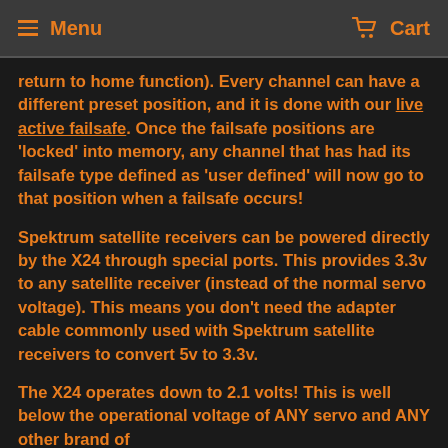Menu  Cart
return to home function). Every channel can have a different preset position, and it is done with our live active failsafe. Once the failsafe positions are 'locked' into memory, any channel that has had its failsafe type defined as 'user defined' will now go to that position when a failsafe occurs!
Spektrum satellite receivers can be powered directly by the X24 through special ports. This provides 3.3v to any satellite receiver (instead of the normal servo voltage). This means you don't need the adapter cable commonly used with Spektrum satellite receivers to convert 5v to 3.3v.
The X24 operates down to 2.1 volts! This is well below the operational voltage of ANY servo and ANY other brand of